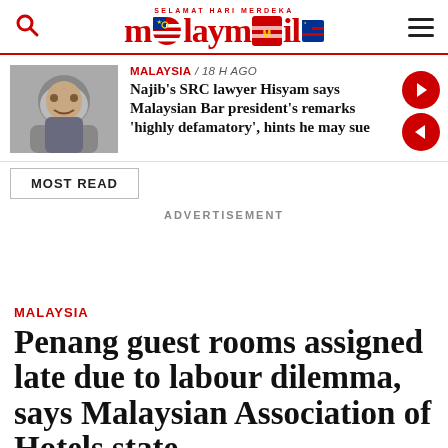Malay Mail — SELAMAT HARI MERDEKA
MALAYSIA / 18 h ago
Najib's SRC lawyer Hisyam says Malaysian Bar president's remarks 'highly defamatory', hints he may sue
MOST READ
ADVERTISEMENT
MALAYSIA
Penang guest rooms assigned late due to labour dilemma, says Malaysian Association of Hotels state